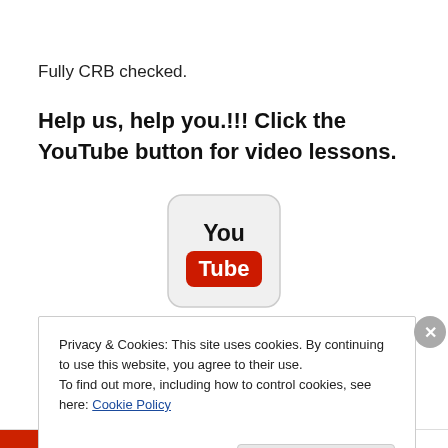Fully CRB checked.
Help us, help you.!!! Click the YouTube button for video lessons.
[Figure (logo): YouTube logo button — rounded square with 'You' on top and a red 'Tube' badge below]
Post codes we cover :
Privacy & Cookies: This site uses cookies. By continuing to use this website, you agree to their use.
To find out more, including how to control cookies, see here: Cookie Policy
Close and accept